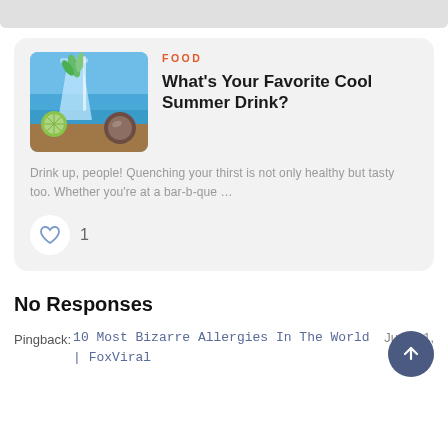[Figure (photo): A cool summer drink (mojito/lime cocktail) on a beach background with tropical sea and sky]
FOOD
What's Your Favorite Cool Summer Drink?
Drink up, people! Quenching your thirst is not only healthy but tasty too. Whether you're at a bar-b-que …
No Responses
Pingback: 10 Most Bizarre Allergies In The World | FoxViral
June 11, 2020